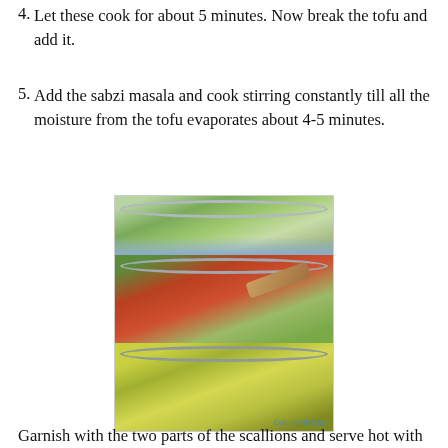4. Let these cook for about 5 minutes. Now break the tofu and add it.
5. Add the sabzi masala and cook stirring constantly till all the moisture from the tofu evaporates about 4-5 minutes.
[Figure (photo): Three-panel composite photo showing cooking steps in a stainless steel pan: top panel shows chopped green vegetables cooking, middle panel shows tomatoes and green vegetables with a wooden spoon, bottom panel shows crumbled yellow tofu mixed with vegetables. Watermark reads 'Colours Of Spice'.]
Garnish with the two parts of the scallions and serve hot with